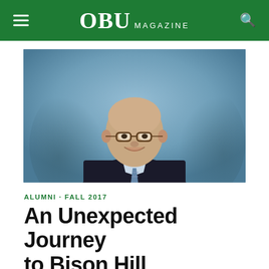OBU MAGAZINE
[Figure (photo): Professional headshot of a smiling older bald man wearing glasses, a dark suit jacket, light blue dress shirt, and a blue patterned tie, posed against a blue backdrop.]
ALUMNI · FALL 2017
An Unexpected Journey to Bison Hill